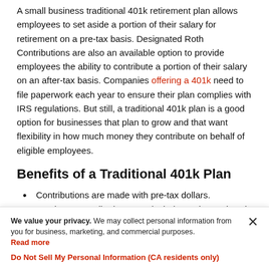A small business traditional 401k retirement plan allows employees to set aside a portion of their salary for retirement on a pre-tax basis. Designated Roth Contributions are also an available option to provide employees the ability to contribute a portion of their salary on an after-tax basis. Companies offering a 401k need to file paperwork each year to ensure their plan complies with IRS regulations. But still, a traditional 401k plan is a good option for businesses that plan to grow and that want flexibility in how much money they contribute on behalf of eligible employees.
Benefits of a Traditional 401k Plan
Contributions are made with pre-tax dollars. Employee contributions may include Designated Roth Contributions.
We value your privacy. We may collect personal information from you for business, marketing, and commercial purposes. Read more
Do Not Sell My Personal Information (CA residents only)